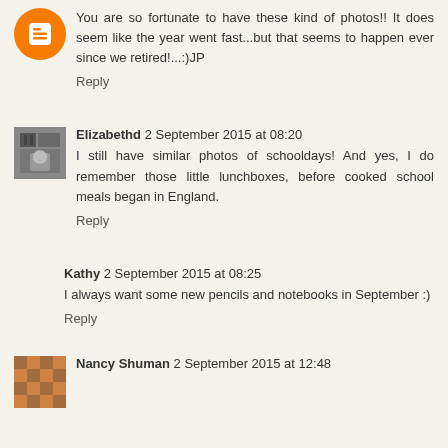You are so fortunate to have these kind of photos!! It does seem like the year went fast...but that seems to happen ever since we retired!...:)JP
Reply
Elizabethd 2 September 2015 at 08:20
I still have similar photos of schooldays! And yes, I do remember those little lunchboxes, before cooked school meals began in England.
Reply
Kathy 2 September 2015 at 08:25
I always want some new pencils and notebooks in September :)
Reply
Nancy Shuman 2 September 2015 at 12:48